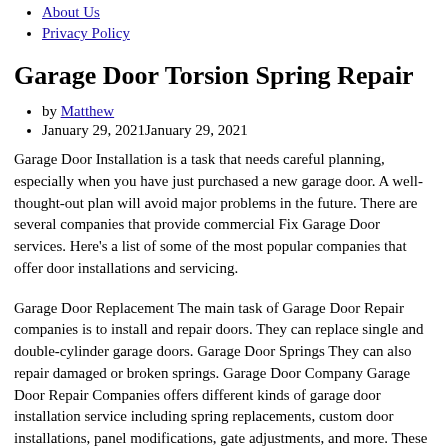About Us
Privacy Policy
Garage Door Torsion Spring Repair
by Matthew
January 29, 2021January 29, 2021
Garage Door Installation is a task that needs careful planning, especially when you have just purchased a new garage door. A well-thought-out plan will avoid major problems in the future. There are several companies that provide commercial Fix Garage Door services. Here's a list of some of the most popular companies that offer door installations and servicing.
Garage Door Replacement The main task of Garage Door Repair companies is to install and repair doors. They can replace single and double-cylinder garage doors. Garage Door Springs They can also repair damaged or broken springs. Garage Door Company Garage Door Repair Companies offers different kinds of garage door installation service including spring replacements, custom door installations, panel modifications, gate adjustments, and more. These companies also offer services to install automatic garage door openers and emergency vehicle emergency system.